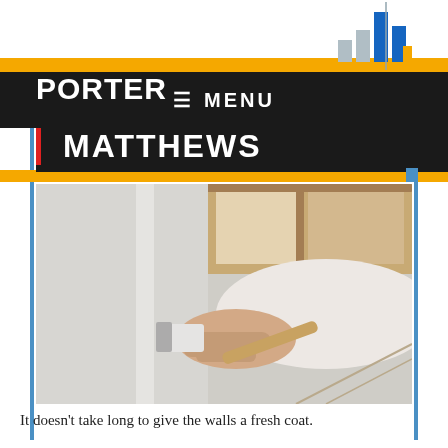PORTER MATTHEWS — MENU
[Figure (photo): Person painting a wall with a paintbrush, hand close-up, white shirt, wooden-framed window in background]
It doesn't take long to give the walls a fresh coat.